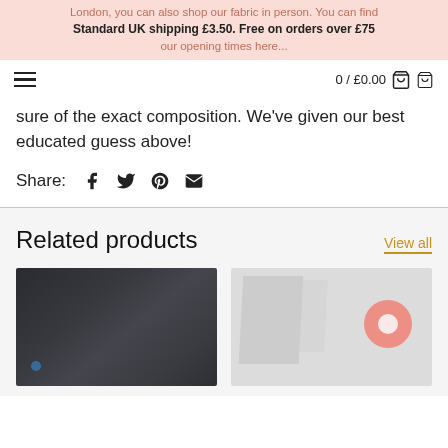London, you can also shop our fabric in person. You can find
Standard UK shipping £3.50. Free on orders over £75
our opening times here...
sure of the exact composition. We've given our best educated guess above!
Share:
Related products
View all
[Figure (photo): Dark grey/charcoal fabric roll close-up]
[Figure (photo): Light grey product with pink/coral circular chat bubble overlay]